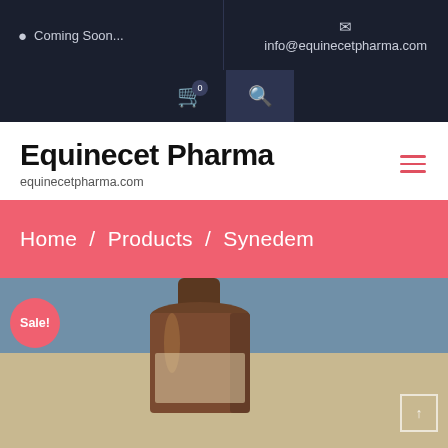Coming Soon...
info@equinecetpharma.com
Equinecet Pharma
equinecetpharma.com
Home / Products / Synedem
[Figure (photo): Amber glass bottle product photo with Sale! badge overlay]